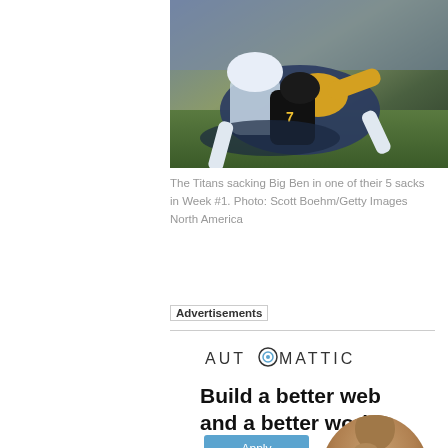[Figure (photo): NFL football action photo showing the Tennessee Titans sacking Pittsburgh Steelers quarterback Big Ben, players in blue/white and black/yellow uniforms on a grass field.]
The Titans sacking Big Ben in one of their 5 sacks in Week #1. Photo: Scott Boehm/Getty Images North America
Advertisements
[Figure (logo): Automattic logo with stylized 'O' containing a circular icon]
Build a better web and a better world.
[Figure (photo): Person in contemplative pose, cropped circular portrait]